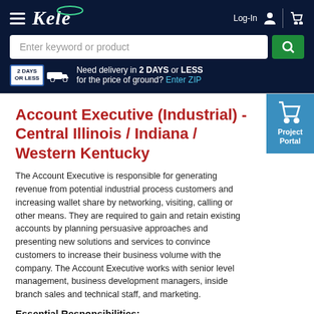Kele — Log-In | Cart
Enter keyword or product
Need delivery in 2 DAYS or LESS for the price of ground? Enter ZIP
Account Executive (Industrial) - Central Illinois / Indiana / Western Kentucky
The Account Executive is responsible for generating revenue from potential industrial process customers and increasing wallet share by networking, visiting, calling or other means. They are required to gain and retain existing accounts by planning persuasive approaches and presenting new solutions and services to convince customers to increase their business volume with the company. The Account Executive works with senior level management, business development managers, inside branch sales and technical staff, and marketing.
Essential Responsibilities:
Uses company provided selling tools to jointly develop account strategies and tactics with the team and to manage and update customer data and the sales funnel
Listens to and manages resolution of customer concerns by investigating problems, developing solutions, and making recommendations